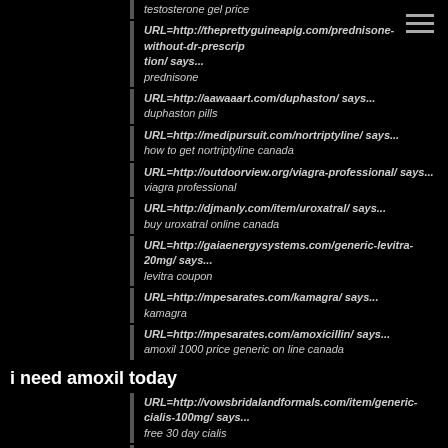testosterone gel price
URL=http://theprettyguineapig.com/prednisone-without-dr-prescription/ says...
prednisone
URL=http://aawaaart.com/duphaston/ says...
duphaston pills
URL=http://medipursuit.com/nortriptyline/ says...
how to get nortriptyline canada
URL=http://outdoorview.org/viagra-professional/ says...
viagra professional
URL=http://djmanly.com/item/uroxatral/ says...
buy uroxatral online canada
URL=http://gaiaenergysystems.com/generic-levitra-20mg/ says...
levitra coupon
URL=http://mpesarates.com/kamagra/ says...
kamagra
URL=http://mpesarates.com/amoxicillin/ says...
amoxil 1000 price generic on line canada
i need amoxil today
URL=http://vowsbridalandformals.com/item/generic-cialis-100mg/ says...
free 30 day cialis
URL=http://djmanly.com/liv-52/ says...
liv.52 online usa
liv.52
URL=http://fountainheadapartmentsma.com/bexovid/ says...
bexovid capsules